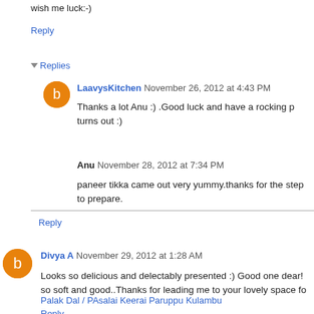wish me luck:-)
Reply
Replies
LaavysKitchen November 26, 2012 at 4:43 PM
Thanks a lot Anu :) .Good luck and have a rocking p... turns out :)
Anu November 28, 2012 at 7:34 PM
paneer tikka came out very yummy.thanks for the step... to prepare.
Reply
Divya A November 29, 2012 at 1:28 AM
Looks so delicious and delectably presented :) Good one dear!... so soft and good..Thanks for leading me to your lovely space fo...
Palak Dal / PAsalai Keerai Paruppu Kulambu
Reply